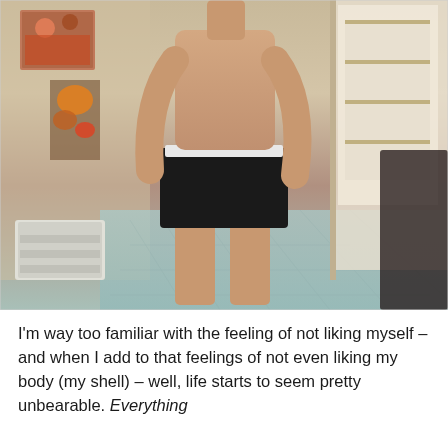[Figure (photo): A shirtless person standing in a room wearing black shorts, facing the camera. The background shows a room with a heater/radiator on the left, colorful artwork on the wall, and what appears to be a doorway on the right.]
I'm way too familiar with the feeling of not liking myself – and when I add to that feelings of not even liking my body (my shell) – well, life starts to seem pretty unbearable. Everything